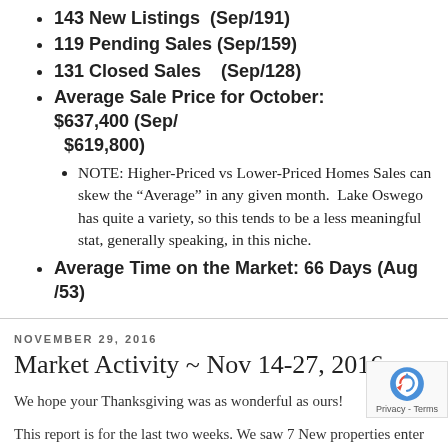143 New Listings (Sep/191)
119 Pending Sales (Sep/159)
131 Closed Sales (Sep/128)
Average Sale Price for October: $637,400 (Sep/$619,800)
NOTE: Higher-Priced vs Lower-Priced Homes Sales can skew the “Average” in any given month. Lake Oswego has quite a variety, so this tends to be a less meaningful stat, generally speaking, in this niche.
Average Time on the Market: 66 Days (Aug /53)
NOVEMBER 29, 2016
Market Activity ~ Nov 14-27, 2016
We hope your Thanksgiving was as wonderful as ours!
This report is for the last two weeks. We saw 7 New properties enter the market in Lake Oswego, 26 move to